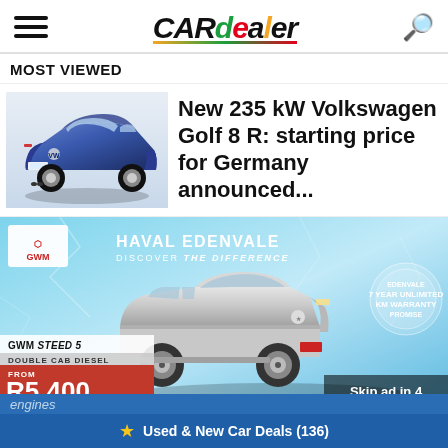CARdealer
MOST VIEWED
[Figure (photo): Blue Volkswagen Golf 8 R photographed from rear three-quarter angle]
New 235 kW Volkswagen Golf 8 R: starting price for Germany announced...
[Figure (photo): GWM advertisement banner: GWM Steed 5 Double Cab Diesel, Haval Edenvale, Discover The Difference, 7 Year Unlimited KM Warranty Promise, FROM R5 400 PER MONTH*, Skip ad in 4]
★ Used & New Car Deals (136)